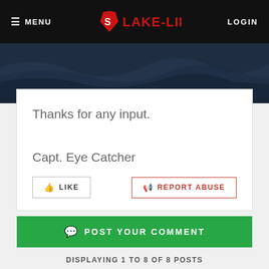MENU | LAKE-LINK | LOGIN
[Figure (screenshot): Dark blue wavy water banner image]
Thanks for any input.
Capt. Eye Catcher
LIKE | REPORT ABUSE
POST YOUR COMMENT
DISPLAYING 1 TO 8 OF 8 POSTS